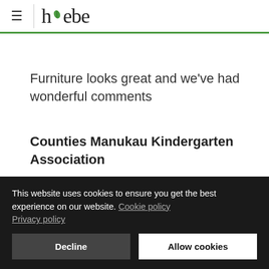≡ hebe
Furniture looks great and we've had wonderful comments
Counties Manukau Kindergarten Association
We love Hebe furniture. Your products are
This website uses cookies to ensure you get the best experience on our website. Cookie policy Privacy policy
Decline
Allow cookies